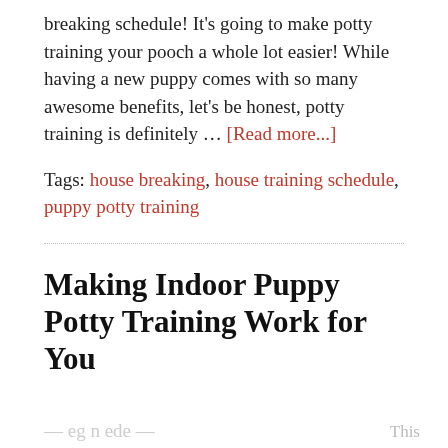breaking schedule! It's going to make potty training your pooch a whole lot easier! While having a new puppy comes with so many awesome benefits, let's be honest, potty training is definitely … [Read more...]
Tags: house breaking, house training schedule, puppy potty training
Making Indoor Puppy Potty Training Work for You
SEPTEMBER 12, 2016  BY  NICOLE ETOLEN  53 COMMENTS